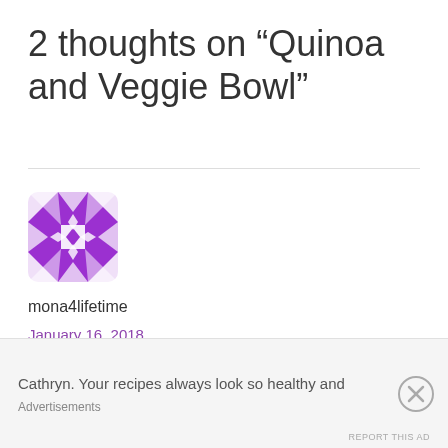2 thoughts on “Quinoa and Veggie Bowl”
[Figure (illustration): Purple geometric quilt-pattern avatar icon for user mona4lifetime]
mona4lifetime
January 16, 2018
Cathryn. Your recipes always look so healthy and
Advertisements